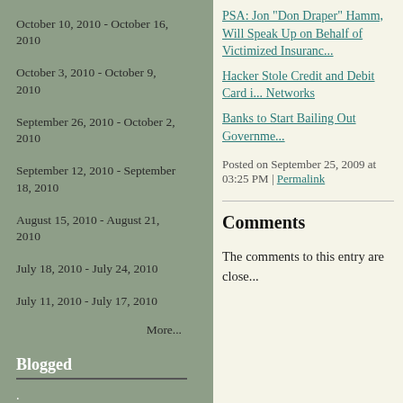October 10, 2010 - October 16, 2010
October 3, 2010 - October 9, 2010
September 26, 2010 - October 2, 2010
September 12, 2010 - September 18, 2010
August 15, 2010 - August 21, 2010
July 18, 2010 - July 24, 2010
July 11, 2010 - July 17, 2010
More...
Blogged
.
PSA: Jon "Don Draper" Hamm, Will Speak Up on Behalf of Victimized Insuranc...
Hacker Stole Credit and Debit Card i... Networks
Banks to Start Bailing Out Governme...
Posted on September 25, 2009 at 03:25 PM | Permalink
Comments
The comments to this entry are close...